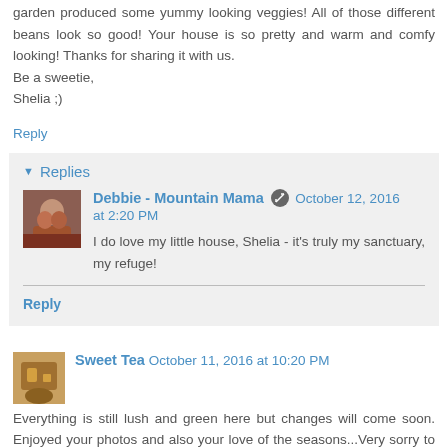garden produced some yummy looking veggies! All of those different beans look so good! Your house is so pretty and warm and comfy looking! Thanks for sharing it with us.
Be a sweetie,
Shelia ;)
Reply
Replies
Debbie - Mountain Mama  October 12, 2016 at 2:20 PM
I do love my little house, Shelia - it's truly my sanctuary, my refuge!
Reply
Sweet Tea  October 11, 2016 at 10:20 PM
Everything is still lush and green here but changes will come soon. Enjoyed your photos and also your love of the seasons...Very sorry to read about the losses in your